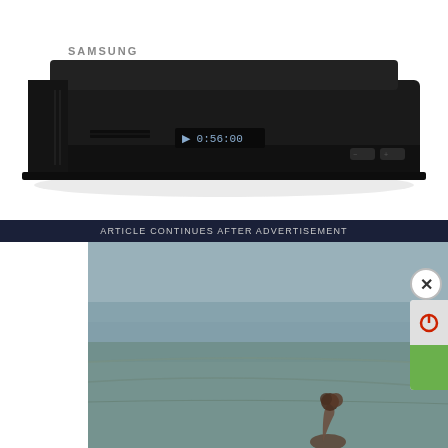[Figure (photo): Samsung Blu-ray or DVD player device, black, showing display reading '0:56:00', on white background]
ARTICLE CONTINUES AFTER ADVERTISEMENT
[Figure (photo): Advertisement image showing mountainous rocky landscape background with overlaid bold italic white text reading 'The home of adventure from sea to summit', with a person visible at the bottom of the image]